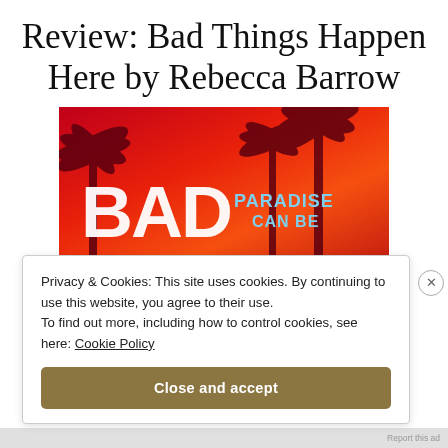Review: Bad Things Happen Here by Rebecca Barrow
[Figure (photo): Book cover of 'Bad Things Happen Here' by Rebecca Barrow showing large white text 'BAD' and the words 'PARADISE' and partially visible text, set against a red/orange tropical background with dark palm trees]
Privacy & Cookies: This site uses cookies. By continuing to use this website, you agree to their use.
To find out more, including how to control cookies, see here: Cookie Policy
Close and accept